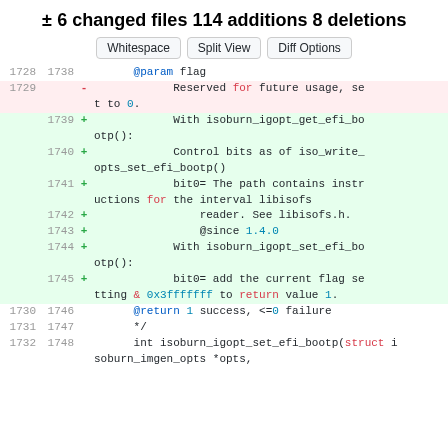± 6 changed files 114 additions 8 deletions
[Figure (screenshot): Diff view buttons: Whitespace, Split View, Diff Options]
| old | new | sign | content |
| --- | --- | --- | --- |
| 1728 | 1738 |  | @param flag |
| 1729 |  | – | Reserved for future usage, set to 0. |
|  | 1739 | + | With isoburn_igopt_get_efi_bootp(): |
|  | 1740 | + | Control bits as of iso_write_opts_set_efi_bootp() |
|  | 1741 | + | bit0= The path contains instructions for the interval libisofs |
|  | 1742 | + | reader. See libisofs.h. |
|  | 1743 | + | @since 1.4.0 |
|  | 1744 | + | With isoburn_igopt_set_efi_bootp(): |
|  | 1745 | + | bit0= add the current flag setting & 0x3fffffff to return value 1. |
| 1730 | 1746 |  | @return 1 success, <=0 failure |
| 1731 | 1747 |  | */ |
| 1732 | 1748 |  | int isoburn_igopt_set_efi_bootp(struct isoburn_imgen_opts *opts, |